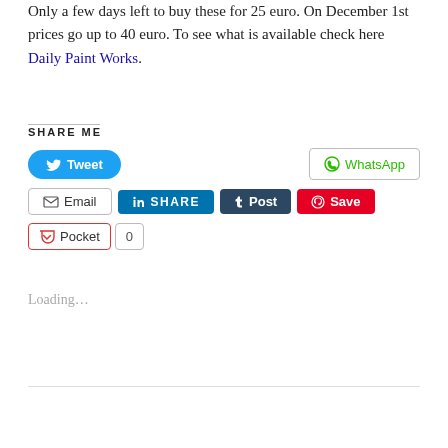Only a few days left to buy these for 25 euro. On December 1st prices go up to 40 euro. To see what is available check here Daily Paint Works.
SHARE ME
[Figure (screenshot): Social sharing buttons: Tweet (Twitter), WhatsApp, Email, LinkedIn SHARE, Tumblr Post, Pinterest Save, Pocket with count 0]
Loading...